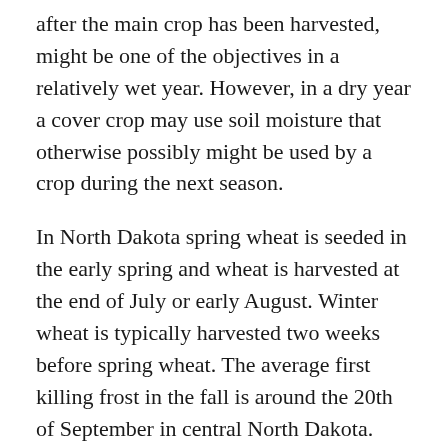after the main crop has been harvested, might be one of the objectives in a relatively wet year. However, in a dry year a cover crop may use soil moisture that otherwise possibly might be used by a crop during the next season.
In North Dakota spring wheat is seeded in the early spring and wheat is harvested at the end of July or early August. Winter wheat is typically harvested two weeks before spring wheat. The average first killing frost in the fall is around the 20th of September in central North Dakota. The period between wheat harvest and the first killing frost can be used for additional forage or biomass production. The key is the availability of sufficient soil moisture and or